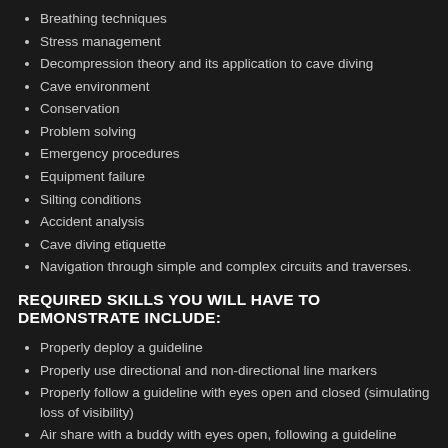Breathing techniques
Stress management
Decompression theory and its application to cave diving
Cave environment
Conservation
Problem solving
Emergency procedures
Equipment failure
Silting conditions
Accident analysis
Cave diving etiquette
Navigation through simple and complex circuits and traverses.
REQUIRED SKILLS YOU WILL HAVE TO DEMONSTRATE INCLUDE:
Properly deploy a guideline
Properly use directional and non-directional line markers
Properly follow a guideline with eyes open and closed (simulating loss of visibility)
Air share with a buddy with eyes open, following a guideline
Air share with a buddy with lights off and eyes closed, using touch contact while following the guideline
Remove and replace mask while in contact with the guideline
Demonstrate conservation, awareness, and back referencing techniques